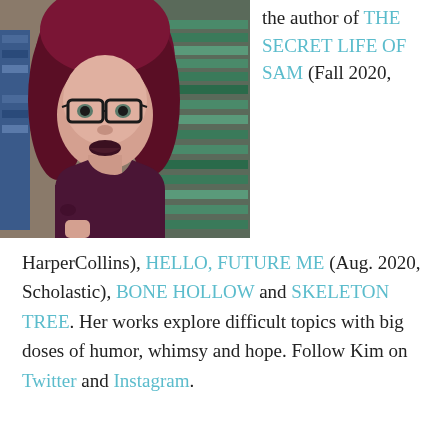[Figure (photo): Author photo: woman with dark red/magenta wavy hair, wearing glasses and a dark maroon t-shirt, seated in what appears to be a bookstore with shelves of books behind her.]
the author of THE SECRET LIFE OF SAM (Fall 2020,
HarperCollins), HELLO, FUTURE ME (Aug. 2020, Scholastic), BONE HOLLOW and SKELETON TREE. Her works explore difficult topics with big doses of humor, whimsy and hope. Follow Kim on Twitter and Instagram.